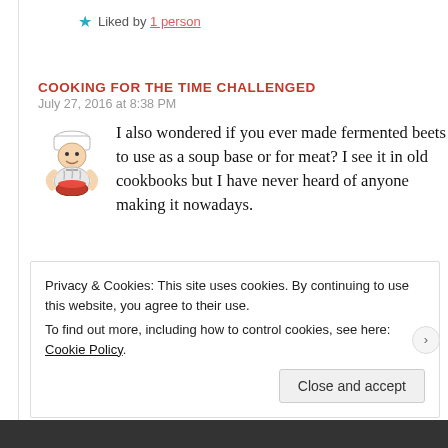★ Liked by 1 person
COOKING FOR THE TIME CHALLENGED
July 27, 2016 at 8:38 PM
I also wondered if you ever made fermented beets to use as a soup base or for meat? I see it in old cookbooks but I have never heard of anyone making it nowadays.
Privacy & Cookies: This site uses cookies. By continuing to use this website, you agree to their use. To find out more, including how to control cookies, see here: Cookie Policy
Close and accept